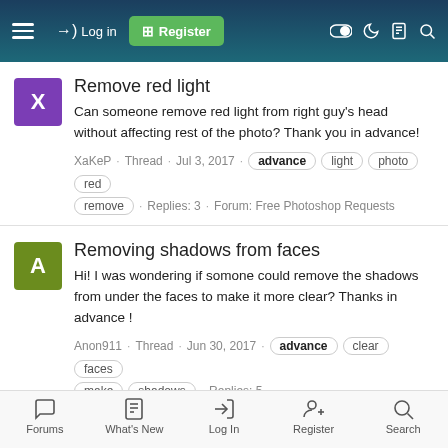Navigation bar with hamburger menu, Log in, Register, and icon buttons
Remove red light
Can someone remove red light from right guy's head without affecting rest of the photo? Thank you in advance!
XaKeP · Thread · Jul 3, 2017 · advance  light  photo  red  remove · Replies: 3 · Forum: Free Photoshop Requests
Removing shadows from faces
Hi! I was wondering if somone could remove the shadows from under the faces to make it more clear? Thanks in advance !
Anon911 · Thread · Jun 30, 2017 · advance  clear  faces  make  shadows · Replies: 5 · Forum: Free Photoshop Requests
Forums  What's New  Log In  Register  Search